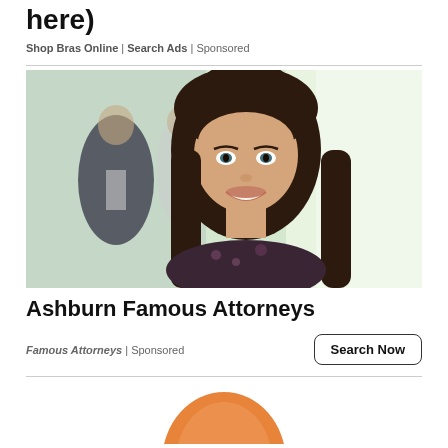here)
Shop Bras Online | Search Ads | Sponsored
[Figure (photo): Professional woman with long dark hair smiling, with blurred colleagues in the background in an office setting]
Ashburn Famous Attorneys
Famous Attorneys | Sponsored
[Figure (photo): Partial view of a round orange object at the bottom of the page]